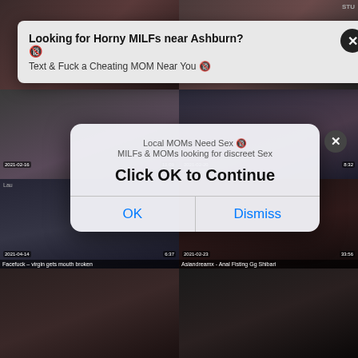[Figure (screenshot): Adult video website grid layout with thumbnails, overlaid by two advertising popups]
Looking for Horny MILFs near Ashburn?
Text & Fuck a Cheating MOM Near You
Local MOMs Need Sex
MILFs & MOMs looking for discreet Sex
Click OK to Continue
OK
Dismiss
Facefuck – virgin gets mouth broken
Asiandreamx - Anal Fisting Gg Shibari